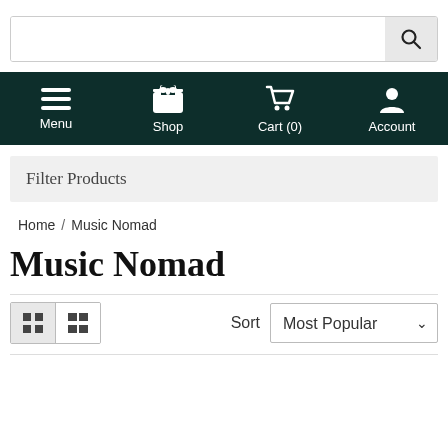[Figure (screenshot): Search bar with magnifying glass icon]
[Figure (screenshot): Navigation bar with Menu, Shop, Cart (0), Account icons on dark green background]
Filter Products
Home / Music Nomad
Music Nomad
[Figure (screenshot): View toggle buttons (grid/list) and Sort dropdown showing Most Popular]